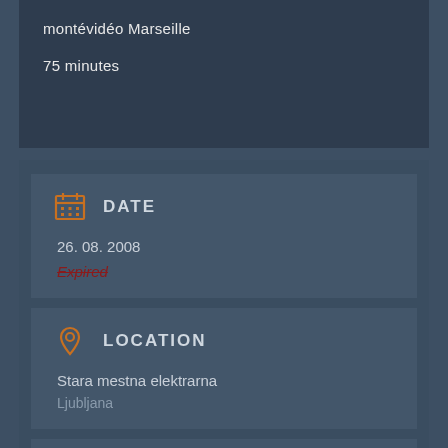montévidéo Marseille
75 minutes
DATE
26. 08. 2008
Expired
LOCATION
Stara mestna elektrarna
Ljubljana
CATEGORY